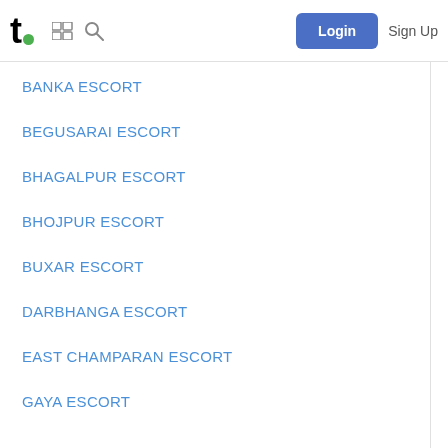t. [grid icon] [search icon] Login Sign Up
BANKA ESCORT
BEGUSARAI ESCORT
BHAGALPUR ESCORT
BHOJPUR ESCORT
BUXAR ESCORT
DARBHANGA ESCORT
EAST CHAMPARAN ESCORT
GAYA ESCORT